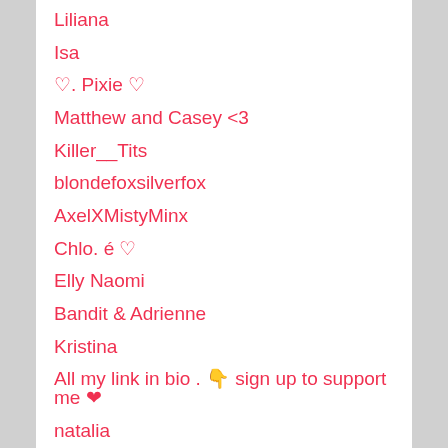Liliana
Isa
♡. Pixie ♡
Matthew and Casey <3
Killer__Tits
blondefoxsilverfox
AxelXMistyMinx
Chlo. é ♡
Elly Naomi
Bandit & Adrienne
Kristina
All my link in bio . 👇 sign up to support me ❤
natalia